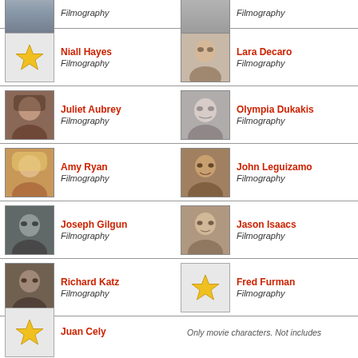[Figure (photo): Partial actor photo top left]
Filmography
[Figure (photo): Partial actor photo top right]
Filmography
[Figure (illustration): Gold star placeholder for Niall Hayes]
Niall Hayes
Filmography
[Figure (photo): Photo of Lara Decaro]
Lara Decaro
Filmography
[Figure (photo): Photo of Juliet Aubrey]
Juliet Aubrey
Filmography
[Figure (photo): Photo of Olympia Dukakis]
Olympia Dukakis
Filmography
[Figure (photo): Photo of Amy Ryan]
Amy Ryan
Filmography
[Figure (photo): Photo of John Leguizamo]
John Leguizamo
Filmography
[Figure (photo): Photo of Joseph Gilgun]
Joseph Gilgun
Filmography
[Figure (photo): Photo of Jason Isaacs]
Jason Isaacs
Filmography
[Figure (photo): Photo of Richard Katz]
Richard Katz
Filmography
[Figure (illustration): Gold star placeholder for Fred Furman]
Fred Furman
Filmography
[Figure (illustration): Partial gold star for Juan Cely]
Juan Cely
Only movie characters. Not includes